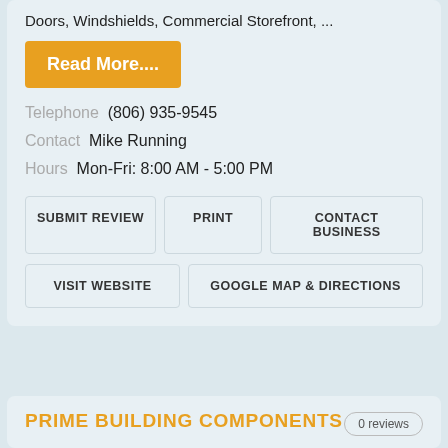Doors, Windshields, Commercial Storefront, ...
Read More....
Telephone  (806) 935-9545
Contact  Mike Running
Hours  Mon-Fri: 8:00 AM - 5:00 PM
SUBMIT REVIEW
PRINT
CONTACT BUSINESS
VISIT WEBSITE
GOOGLE MAP & DIRECTIONS
PRIME BUILDING COMPONENTS
0 reviews